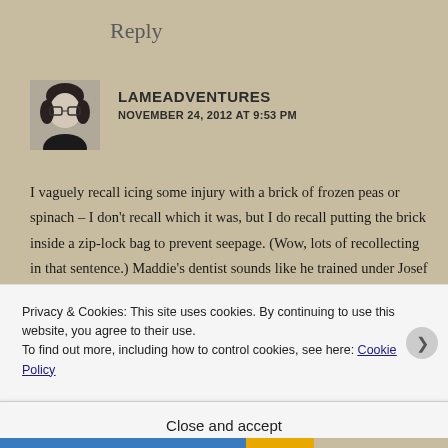Reply
LAMEADVENTURES
NOVEMBER 24, 2012 AT 9:53 PM
I vaguely recall icing some injury with a brick of frozen peas or spinach – I don't recall which it was, but I do recall putting the brick inside a zip-lock bag to prevent seepage. (Wow, lots of recollecting in that sentence.) Maddie's dentist sounds like he trained under Josef Mengele. Nice
Privacy & Cookies: This site uses cookies. By continuing to use this website, you agree to their use.
To find out more, including how to control cookies, see here: Cookie Policy
Close and accept